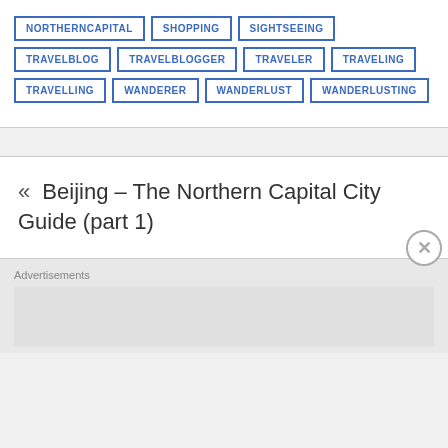NORTHERNCAPITAL
SHOPPING
SIGHTSEEING
TRAVELBLOG
TRAVELBLOGGER
TRAVELER
TRAVELING
TRAVELLING
WANDERER
WANDERLUST
WANDERLUSTING
« Beijing – The Northern Capital City Guide (part 1)
Advertisements